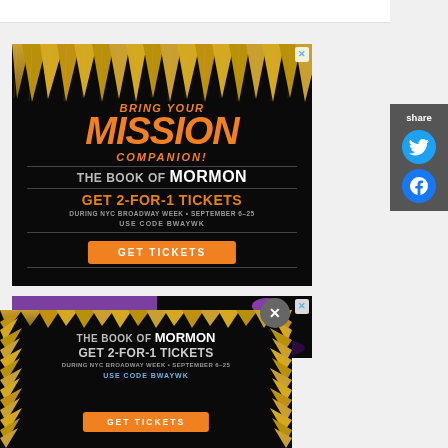[Figure (infographic): Advertisement for The Book of Mormon Broadway show. Orange text reads 'BRING YOUR MISSION COMPANION!' above large text 'THE BOOK OF MORMON'. Orange text 'GET 2-FOR-1 TICKETS' with details 'DURING NYC BROADWAY WEEK • SEPTEMBER 6–25 USE CODE BWAYWK' and an orange 'GET TICKETS' button. Gold spike decorations at top. Black background.]
[Figure (infographic): Advertisement for Theater J. Purple banner on left reading 'THEATER J' with black area on right showing a purple hat/object.]
[Figure (infographic): Overlay banner advertisement for The Book of Mormon. Gold spike border. Text: 'THE BOOK OF MORMON', 'GET 2-FOR-1 TICKETS', 'DURING NYC BROADWAY WEEK • SEPTEMBER 6–25', 'USE CODE BWAYWK', orange GET TICKETS button. Dark background.]